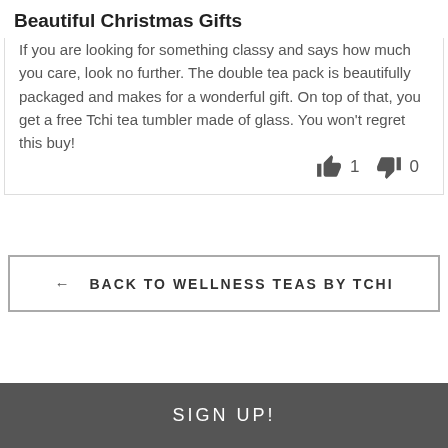Beautiful Christmas Gifts
If you are looking for something classy and says how much you care, look no further. The double tea pack is beautifully packaged and makes for a wonderful gift. On top of that, you get a free Tchi tea tumbler made of glass. You won't regret this buy!
👍 1  👎 0
← BACK TO WELLNESS TEAS BY TCHI
SIGN UP!